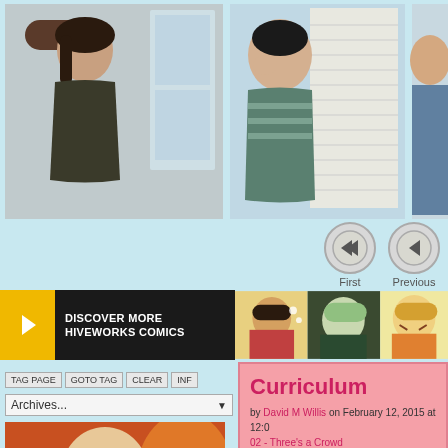[Figure (illustration): Comic strip panels showing characters in animated art style. Left panel shows a person with dark hair looking to the side with brown/dark clothing. Middle panel shows a person in a striped shirt looking worried near a window with blinds. Right panel partially visible shows another character.]
[Figure (screenshot): Navigation buttons: 'First' (double left arrow) and 'Previous' (single left arrow) circular buttons with labels below.]
[Figure (screenshot): Hiveworks Comics banner with yellow arrow, black text box saying DISCOVER MORE HIVEWORKS COMICS, and comic character images.]
TAG PAGE  GOTO TAG  CLEAR  INF
Archives...
[Figure (illustration): NSFW cover image with large white NSFW text over an orange/red illustrated character with red hair.]
Curriculum
by David M Willis on February 12, 2015 at 12:0
02 - Three's a Crowd
└ Tags: leslie, roz
Discussion (845) ¬